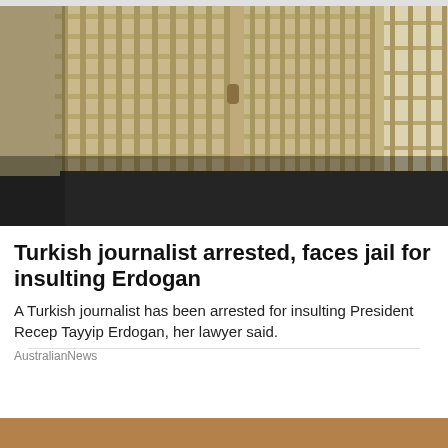[Figure (photo): Interior of a prison or jail showing rows of metal bar cell doors painted in a tan/yellow color, viewed from a corridor angle. The floor is concrete/dark and the walls are light colored.]
Turkish journalist arrested, faces jail for insulting Erdogan
A Turkish journalist has been arrested for insulting President Recep Tayyip Erdogan, her lawyer said.
AustralianNews